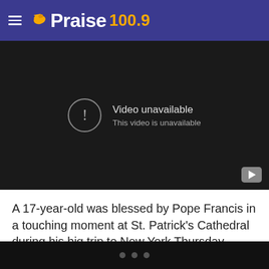Praise 100.9
[Figure (screenshot): Embedded YouTube video player showing 'Video unavailable — This video is unavailable' error message on dark background with YouTube play button icon in bottom-right corner.]
A 17-year-old was blessed by Pope Francis in a touching moment at St. Patrick's Cathedral during his big trip to New York Thursday evening.
• • •